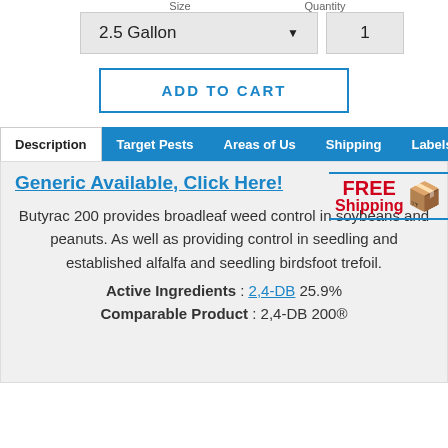Size   Quantity
2.5 Gallon   1
ADD TO CART
Description | Target Pests | Areas of Us | Shipping | Labels/SDS
Generic Available, Click Here!
[Figure (infographic): FREE Shipping box icon with blue top and bottom border lines]
Butyrac 200 provides broadleaf weed control in soybeans and peanuts. As well as providing control in seedling and established alfalfa and seedling birdsfoot trefoil.
Active Ingredients : 2,4-DB 25.9%
Comparable Product : 2,4-DB 200®